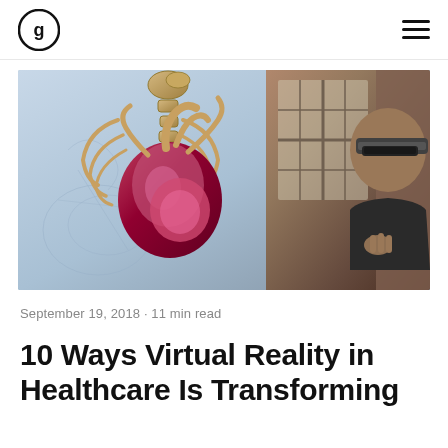G [logo] | hamburger menu
[Figure (photo): Person wearing a Microsoft HoloLens AR headset looking at a holographic 3D model of a human heart with visible anatomy, set against a light blue background with sketched anatomy drawings]
September 19, 2018 · 11 min read
10 Ways Virtual Reality in Healthcare Is Transforming